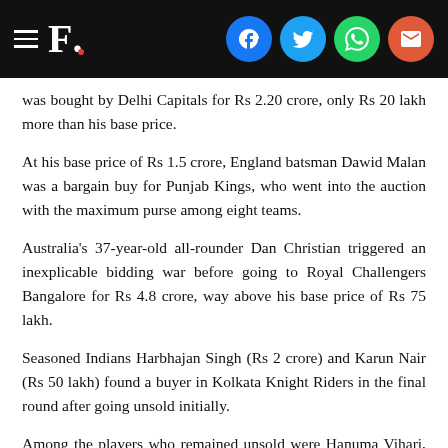F. [social icons: Facebook, Twitter, WhatsApp, Email]
was bought by Delhi Capitals for Rs 2.20 crore, only Rs 20 lakh more than his base price.
At his base price of Rs 1.5 crore, England batsman Dawid Malan was a bargain buy for Punjab Kings, who went into the auction with the maximum purse among eight teams.
Australia's 37-year-old all-rounder Dan Christian triggered an inexplicable bidding war before going to Royal Challengers Bangalore for Rs 4.8 crore, way above his base price of Rs 75 lakh.
Seasoned Indians Harbhajan Singh (Rs 2 crore) and Karun Nair (Rs 50 lakh) found a buyer in Kolkata Knight Riders in the final round after going unsold initially.
Among the players who remained unsold were Hanuma Vihari, Alex Hales, Jason Roy, Adil Rashid, and Aaron Finch.